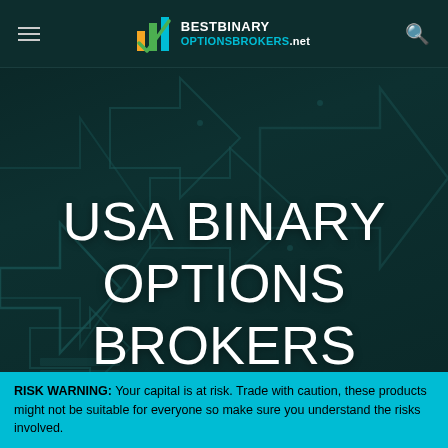BESTBINARY OPTIONSBROKERS.net
[Figure (illustration): Dark teal background with multiple large arrow shapes pointing right in various sizes and transparency levels, arranged across the hero section]
USA BINARY OPTIONS BROKERS
RISK WARNING: Your capital is at risk. Trade with caution, these products might not be suitable for everyone so make sure you understand the risks involved.